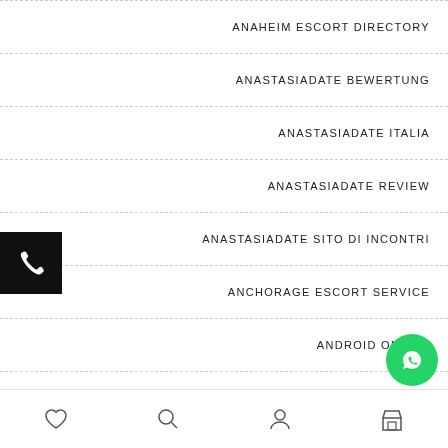ANAHEIM ESCORT DIRECTORY
ANASTASIADATE BEWERTUNG
ANASTASIADATE ITALIA
ANASTASIADATE REVIEW
ANASTASIADATE SITO DI INCONTRI
ANCHORAGE ESCORT SERVICE
ANDROID ONLINE
ANDROIDE WEB
navigation bar with icons: heart, search, person, store